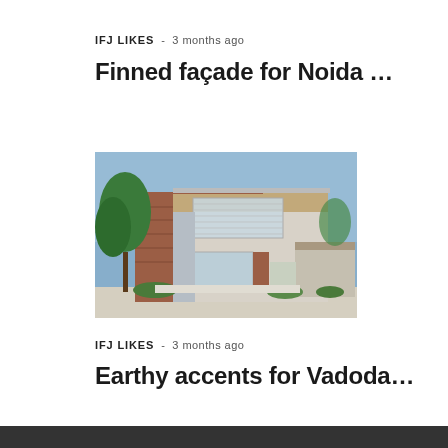IFJ LIKES - 3 months ago
Finned façade for Noida …
[Figure (photo): Exterior photograph of a modern two-storey house with brick and concrete facade, large windows, trees in the foreground, in Noida]
IFJ LIKES - 3 months ago
Earthy accents for Vadoda…